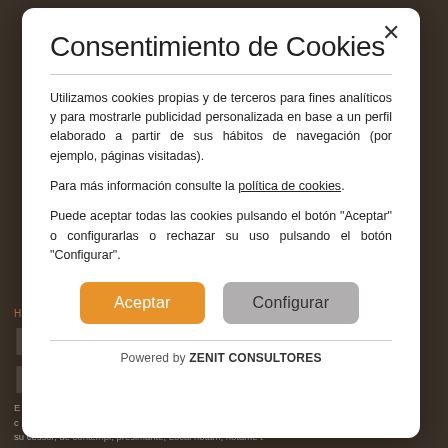Consentimiento de Cookies
Utilizamos cookies propias y de terceros para fines analíticos y para mostrarle publicidad personalizada en base a un perfil elaborado a partir de sus hábitos de navegación (por ejemplo, páginas visitadas).
Para más información consulte la política de cookies.
Puede aceptar todas las cookies pulsando el botón "Aceptar" o configurarlas o rechazar su uso pulsando el botón "Configurar".
Aceptar | Configurar
Powered by ZENIT CONSULTORES